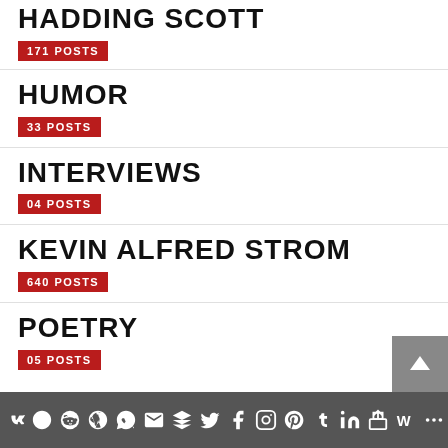HADDING SCOTT
171 POSTS
HUMOR
33 POSTS
INTERVIEWS
04 POSTS
KEVIN ALFRED STROM
640 POSTS
POETRY
05 POSTS
Social sharing icons bar